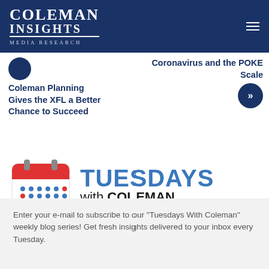[Figure (logo): Coleman Insights Media Research logo in white on dark blue background]
Coleman Planning Gives the XFL a Better Chance to Succeed
Coronavirus and the POKE Scale
[Figure (logo): Tuesdays with Coleman logo featuring a calendar icon and the text TUESDAYS with COLEMAN FRESH INSIGHTS EVERY TUESDAY]
Enter your e-mail to subscribe to our "Tuesdays With Coleman" weekly blog series! Get fresh insights delivered to your inbox every Tuesday.